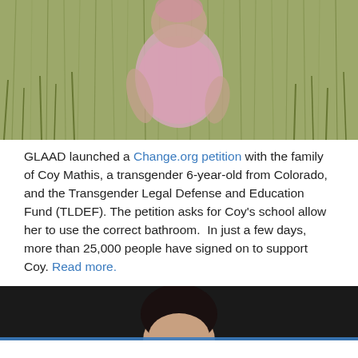[Figure (photo): A young child in a pink dress sitting in a field of tall green grass, photographed in a soft, warm-toned style.]
GLAAD launched a Change.org petition with the family of Coy Mathis, a transgender 6-year-old from Colorado, and the Transgender Legal Defense and Education Fund (TLDEF). The petition asks for Coy's school allow her to use the correct bathroom.  In just a few days, more than 25,000 people have signed on to support Coy. Read more.
[Figure (photo): Partial view of a person's face at bottom of page, dark background, bottom portion cut off.]